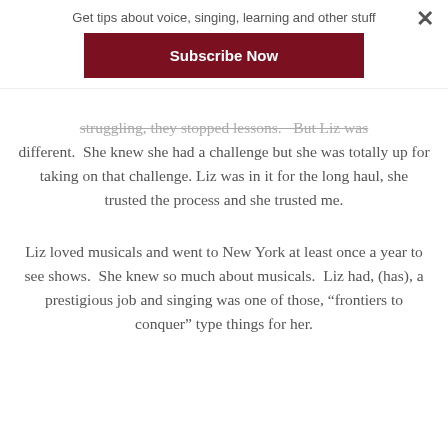Get tips about voice, singing, learning and other stuff
Subscribe Now
struggling, they stopped lessons.  But Liz was different.  She knew she had a challenge but she was totally up for taking on that challenge. Liz was in it for the long haul, she trusted the process and she trusted me.
Liz loved musicals and went to New York at least once a year to see shows.  She knew so much about musicals.  Liz had, (has), a prestigious job and singing was one of those, “frontiers to conquer” type things for her.